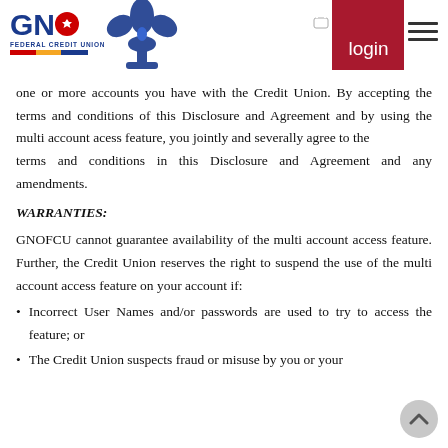GNO Federal Credit Union — login button and navigation
...one or more accounts you have with the Credit Union. By accepting the terms and conditions of this Disclosure and Agreement and by using the multi account acess feature, you jointly and severally agree to the terms and conditions in this Disclosure and Agreement and any amendments.
WARRANTIES:
GNOFCU cannot guarantee availability of the multi account access feature. Further, the Credit Union reserves the right to suspend the use of the multi account access feature on your account if:
Incorrect User Names and/or passwords are used to try to access the feature; or
The Credit Union suspects fraud or misuse by you or your